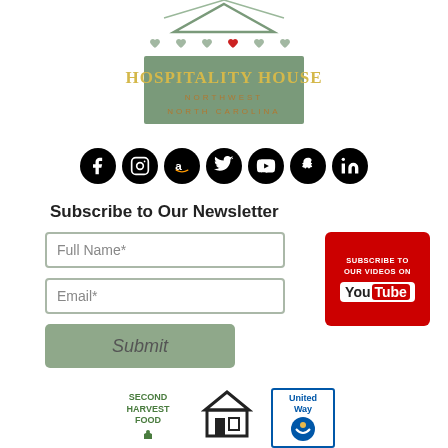[Figure (logo): Hospitality House Northwest North Carolina logo — house shape with hearts, green banner with gold lettering]
[Figure (logo): Row of 7 social media icons: Facebook, Instagram, Amazon, Twitter, YouTube, Snapchat, LinkedIn — all black circles with white icons]
Subscribe to Our Newsletter
[Figure (screenshot): Newsletter subscription form with Full Name* text field, Email* text field, and a green Submit button; alongside a red YouTube subscribe button]
[Figure (logo): Bottom logos: Second Harvest Food (bank), a house/food bank icon, and United Way logo]